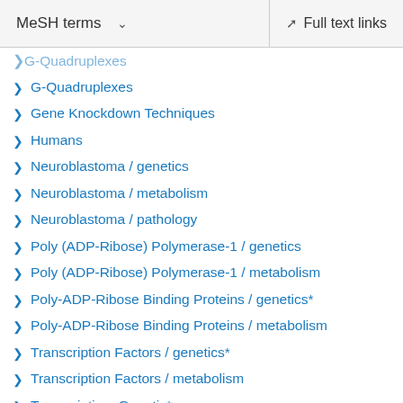MeSH terms   Full text links
G-Quadruplexes
Gene Knockdown Techniques
Humans
Neuroblastoma / genetics
Neuroblastoma / metabolism
Neuroblastoma / pathology
Poly (ADP-Ribose) Polymerase-1 / genetics
Poly (ADP-Ribose) Polymerase-1 / metabolism
Poly-ADP-Ribose Binding Proteins / genetics*
Poly-ADP-Ribose Binding Proteins / metabolism
Transcription Factors / genetics*
Transcription Factors / metabolism
Transcription, Genetic*
Substances
DNA, Neoplasm